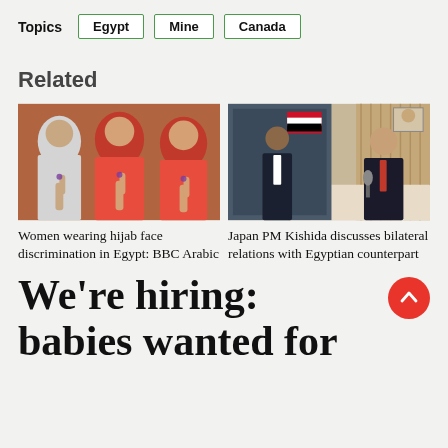Topics
Egypt
Mine
Canada
Related
[Figure (photo): Three women wearing hijabs showing ink-stained fingers (voting)]
Women wearing hijab face discrimination in Egypt: BBC Arabic
[Figure (photo): Japan PM Kishida in video meeting with Egyptian counterpart]
Japan PM Kishida discusses bilateral relations with Egyptian counterpart
We're hiring: babies wanted for